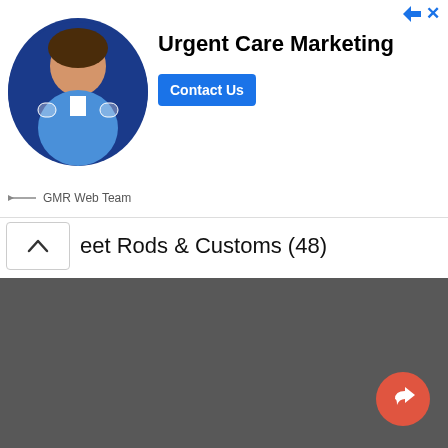[Figure (other): Advertisement banner: Urgent Care Marketing ad with person photo, 'Contact Us' button, and GMR Web Team branding]
eet Rods & Customs (48)
Tools & Equipment (1)
Trailers (2)
Trucks (1,228)
Wanted (1)